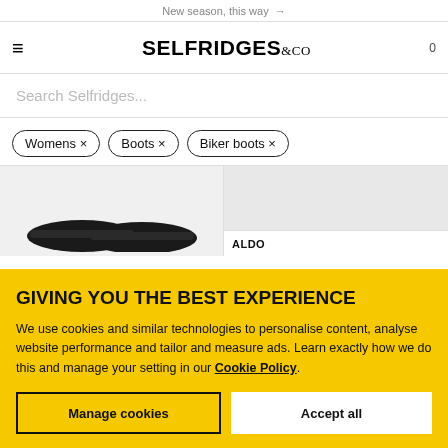New season, this way →
[Figure (logo): Selfridges & Co logo with hamburger menu icon and cart showing 0]
Search Selfridges...
Womens ×   Boots ×   Biker boots ×
[Figure (photo): Two product images: left shows bottom of black chunky boots, right shows partial boot image with ALDO brand label]
GIVING YOU THE BEST EXPERIENCE
We use cookies and similar technologies to personalise content, analyse website performance and tailor and measure ads. Learn exactly how we do this and manage your setting in our Cookie Policy.
Manage cookies
Accept all